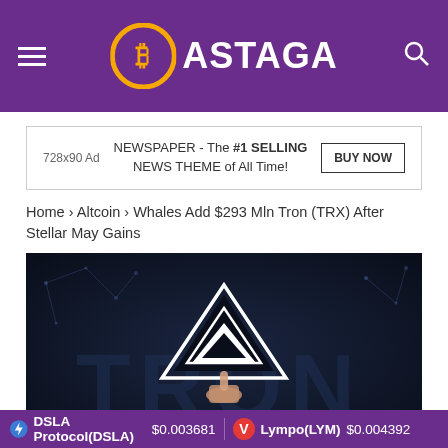BASTAGA
[Figure (other): 728x90 Ad banner with text NEWSPAPER - The #1 SELLING NEWS THEME of All Time! and BUY NOW button]
Home › Altcoin › Whales Add $293 Mln Tron (TRX) After Stellar May Gains
[Figure (photo): Dark background image showing the TRON cryptocurrency logo (geometric diamond shape) floating above a hand, with large TRON text in the background]
DSLA Protocol(DSLA) $0.003681   Lympo(LYM) $0.004392